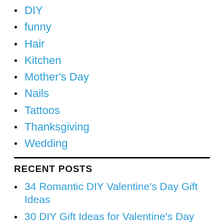DIY
funny
Hair
Kitchen
Mother's Day
Nails
Tattoos
Thanksgiving
Wedding
RECENT POSTS
34 Romantic DIY Valentine's Day Gift Ideas
30 DIY Gift Ideas for Valentine's Day That You Can Make
30 Romantic Nail Designs and Ideas for Valentine's Day